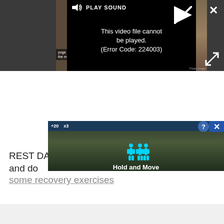[Figure (screenshot): Video player showing error: 'This video file cannot be played. (Error Code: 224003)' with PLAY SOUND button and a close X button in the top-right corner and a fullscreen expand button.]
REST DAY! Grab one of the best foam rollers and do some recovery exercises
[Figure (screenshot): Advertisement overlay showing a fitness app with 'Hold and Move' text, cyan stick figures, and close/question buttons.]
[Figure (screenshot): Light gray bottom band area.]